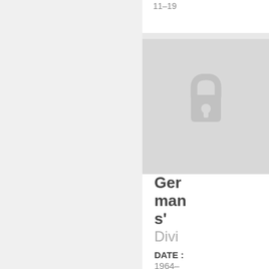11–19
[Figure (illustration): A padlock icon on a light gray background indicating locked/restricted content]
Germans'
Divi
DATE : 1964-09-29